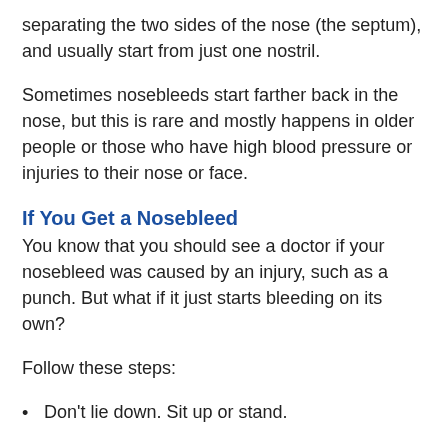separating the two sides of the nose (the septum), and usually start from just one nostril.
Sometimes nosebleeds start farther back in the nose, but this is rare and mostly happens in older people or those who have high blood pressure or injuries to their nose or face.
If You Get a Nosebleed
You know that you should see a doctor if your nosebleed was caused by an injury, such as a punch. But what if it just starts bleeding on its own?
Follow these steps:
Don't lie down. Sit up or stand.
Use tissues or a damp washcloth to catch the